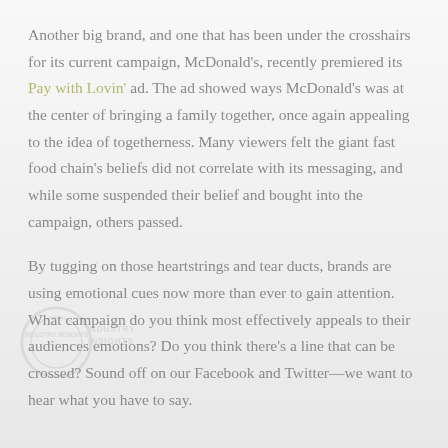Another big brand, and one that has been under the crosshairs for its current campaign, McDonald's, recently premiered its Pay with Lovin' ad. The ad showed ways McDonald's was at the center of bringing a family together, once again appealing to the idea of togetherness. Many viewers felt the giant fast food chain's beliefs did not correlate with its messaging, and while some suspended their belief and bought into the campaign, others passed.
By tugging on those heartstrings and tear ducts, brands are using emotional cues now more than ever to gain attention. What campaign do you think most effectively appeals to their audiences emotions? Do you think there's a line that can be crossed? Sound off on our Facebook and Twitter—we want to hear what you have to say.